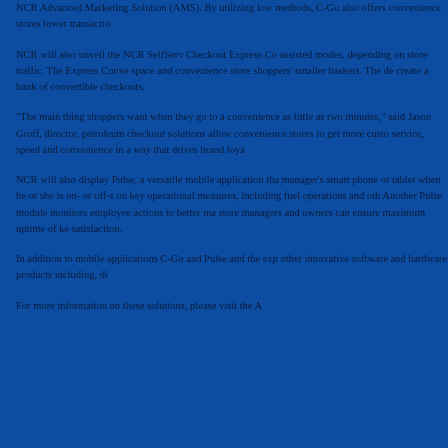NCR Advanced Marketing Solution (AMS). By utilizing low methods, C-Go also offers convenience stores lower transactio...
NCR will also unveil the NCR SelfServ Checkout Express Co assisted modes, depending on store traffic. The Express Conve space and convenience store shoppers' smaller baskets. The de create a bank of convertible checkouts.
"The main thing shoppers want when they go to a convenience as little as two minutes," said Jason Groff, director, petroleum checkout solutions allow convenience stores to get more custo service, speed and convenience in a way that drives brand loya...
NCR will also display Pulse, a versatile mobile application tha manager's smart phone or tablet when he or she is on- or off-s on key operational measures, including fuel operations and oth Another Pulse module monitors employee actions to better ma store managers and owners can ensure maximum uptime of ke satisfaction.
In addition to mobile applications C-Go and Pulse and the exp other innovative software and hardware products including, di...
For more information on these solutions, please visit the A...